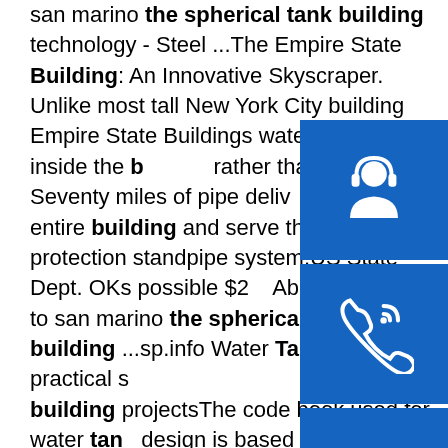san marino the spherical tank building technology - Steel ...The Empire State Building: An Innovative Skyscraper. Unlike most tall New York City buildings, Empire State Buildings water tanks are inside the building rather than on the roof. Seventy miles of pipe deliver water to the entire building and serve the fire-protection standpipe system.US State Dept. OKs possible $2 Abrams tank sale to san marino the spherical tank building ...sp.info Water Tank - Develop practical skills by building projectsThe code book used for water tank design is based on IS 3370: 2009 (Parts I – IV). The design depends on the location of tanks, i.e. overhead, on ground or underground water tanks. DESIGN METHODS: Working stress method of design, considered as the method of earlier times, has several limitations.sp.info WikiZero - Containment buildingA containment building, in its most common usage, is a reinforced steel or lead structure enclosing a nuclear reactor.It is designed, in any emergency to contain the escape of radioactive steam or
[Figure (illustration): Three blue icon boxes stacked vertically: first shows a customer service/headset person icon, second shows a phone/call icon, third shows a Skype logo icon]